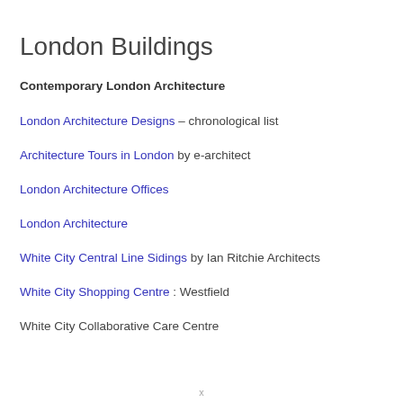London Buildings
Contemporary London Architecture
London Architecture Designs – chronological list
Architecture Tours in London by e-architect
London Architecture Offices
London Architecture
White City Central Line Sidings by Ian Ritchie Architects
White City Shopping Centre : Westfield
White City Collaborative Care Centre
x